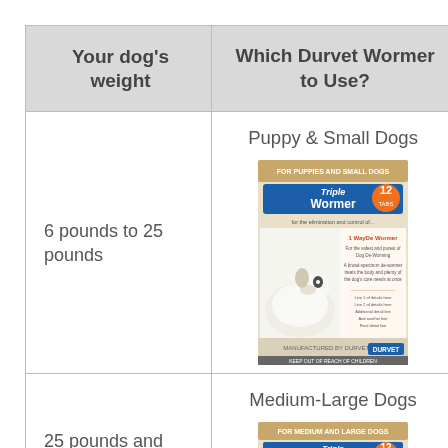| Your dog's weight | Which Durvet Wormer to Use? |
| --- | --- |
| 6 pounds to 25 pounds | Puppy & Small Dogs [product image] |
| 25 pounds and [up] | Medium-Large Dogs [product image] |